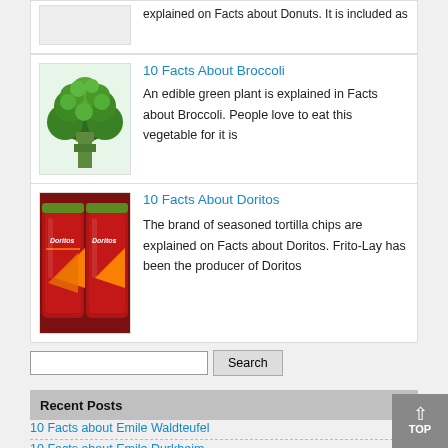explained on Facts about Donuts. It is included as
[Figure (photo): Broccoli vegetable photo]
10 Facts About Broccoli
An edible green plant is explained in Facts about Broccoli. People love to eat this vegetable for it is
[Figure (photo): Doritos snack bags photo]
10 Facts About Doritos
The brand of seasoned tortilla chips are explained on Facts about Doritos. Frito-Lay has been the producer of Doritos
Search
Recent Posts
10 Facts about Emile Waldteufel
10 Facts about Emile Durkheim
10 Facts about Emiliano Zapata
10 Facts about Emeralds
10 Facts about Emancipation Proclamation